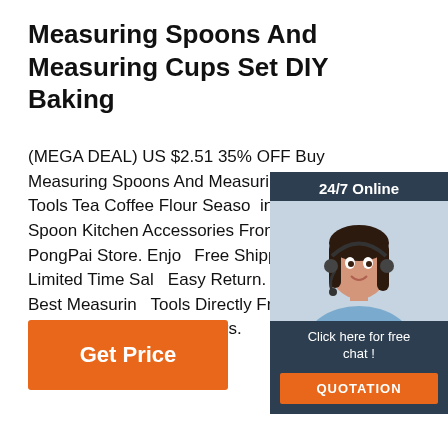Measuring Spoons And Measuring Cups Set DIY Baking
(MEGA DEAL) US $2.51 35% OFF Buy Measuring Spoons And Measuring Cups Baking Tools Tea Coffee Flour Seasoning Measuring Spoon Kitchen Accessories From Seller New PongPai Store. Enjoy Free Shipping Worldwide! Limited Time Sale Easy Return. Shop Quality & Best Measuring Tools Directly From China Measuring Spoon Suppliers.
[Figure (photo): Customer service chat widget with woman wearing headset, 24/7 Online label, Click here for free chat text, and QUOTATION button]
[Figure (other): Get Price orange button]
[Figure (logo): TOP logo with orange dots arranged in arc above the word TOP in orange]